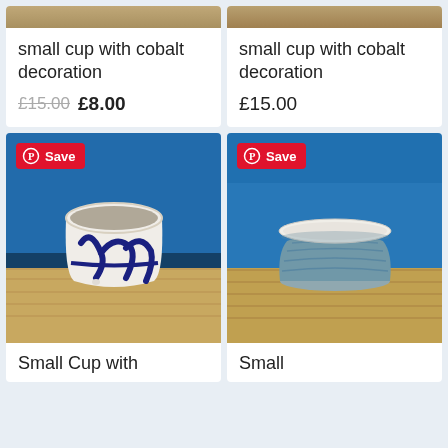[Figure (photo): Top of product image for small cup with cobalt decoration (left), cropped wood/table surface]
small cup with cobalt decoration
£15.00 £8.00
[Figure (photo): Top of product image for small cup with cobalt decoration (right), cropped]
small cup with cobalt decoration
£15.00
[Figure (photo): Photo of small ceramic cup with cobalt blue abstract brushstroke decoration on white, sitting on wooden surface against blue painted wall. Pinterest Save badge in top left.]
Small Cup with
[Figure (photo): Photo of small round ceramic bowl/butter dish with blue glaze and white lid, sitting on wooden surface against blue painted wall. Pinterest Save badge in top left.]
Small